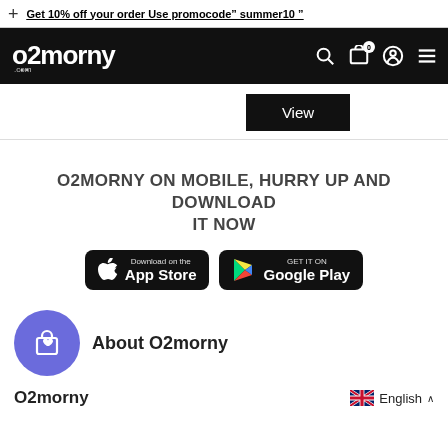+ Get 10% off your order Use promocode" summer10 "
[Figure (logo): O2morny.com logo in white on black navbar with search, cart, account and menu icons]
View
O2MORNY ON MOBILE, HURRY UP AND DOWNLOAD IT NOW
[Figure (infographic): App Store and Google Play download buttons]
About O2morny
O2morny
English